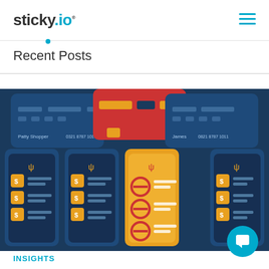sticky.io
Recent Posts
[Figure (illustration): Illustration showing multiple smartphone screens with shopping/billing interfaces in dark blue and orange colors, with a red credit card at the top center. One central phone shows blocked/cancelled icons in orange on a lighter orange background. Other phones show dollar sign product listings. A chat widget is visible in the bottom right corner.]
INSIGHTS